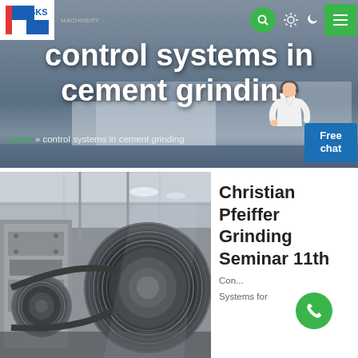[Figure (screenshot): Website header banner with SKS logo, navigation icons (search, light/dark toggle, menu), large white bold text 'control systems in cement grinding', breadcrumb navigation, free chat button, and customer service representative figure. Background shows industrial building/factory scene.]
control systems in cement grinding
Home » control systems in cement grinding
[Figure (photo): Industrial grinding machinery photo showing large ribbed pulley/sheave wheels and mechanical components inside a factory/warehouse with ceiling lights visible in the background.]
Christian Pfeiffer Grinding Seminar 11th
Con... Systems for